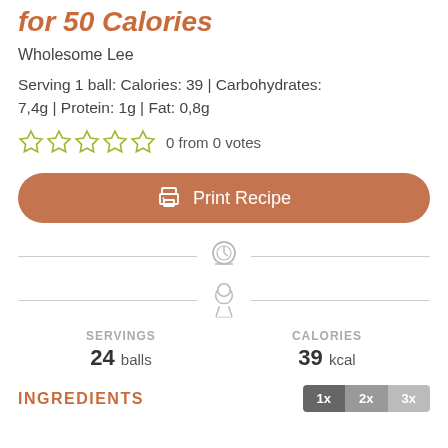for 50 Calories
Wholesome Lee
Serving 1 ball: Calories: 39 | Carbohydrates: 7,4g | Protein: 1g | Fat: 0,8g
0 from 0 votes
Print Recipe
SERVINGS 24 balls
CALORIES 39 kcal
INGREDIENTS
1x 2x 3x